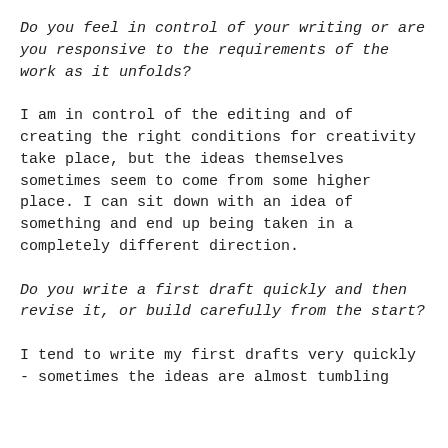Do you feel in control of your writing or are you responsive to the requirements of the work as it unfolds?
I am in control of the editing and of creating the right conditions for creativity take place, but the ideas themselves sometimes seem to come from some higher place. I can sit down with an idea of something and end up being taken in a completely different direction.
Do you write a first draft quickly and then revise it, or build carefully from the start?
I tend to write my first drafts very quickly - sometimes the ideas are almost tumbling